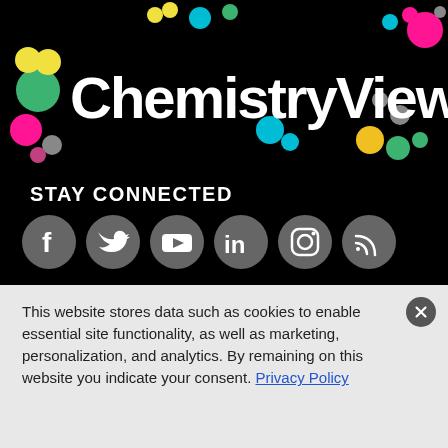[Figure (logo): ChemistryViews logo with colorful dots on black background]
STAY CONNECTED
[Figure (infographic): Social media icons: Facebook, Twitter, YouTube, LinkedIn, Instagram, RSS on gray circles]
RESOURCES
Articles
News
ABOUT US
Editorial Office
Advertise
This website stores data such as cookies to enable essential site functionality, as well as marketing, personalization, and analytics. By remaining on this website you indicate your consent. Privacy Policy